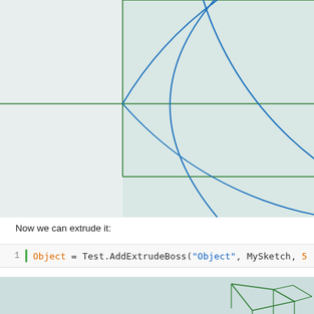[Figure (engineering-diagram): CAD sketch view showing a large arc (circle quarter) drawn in blue on a light teal/grey grid background with green construction lines forming a rectangle. A green asterisk/cross marker is visible near the center-right of the sketch. The view is cropped showing part of the circle and construction frame.]
Now we can extrude it:
[Figure (screenshot): Code editor screenshot showing line 1 with a green bar indicator: Object = Test.AddExtrudeBoss("Object", MySketch, 5 ... (line truncated)]
[Figure (engineering-diagram): Bottom portion of a CAD 3D view showing the beginning of a 3D extrusion result with green wireframe edges visible on a light teal background.]